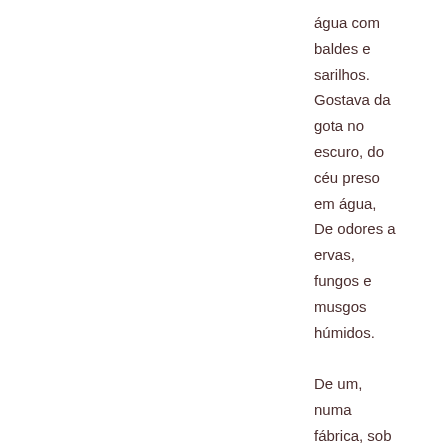água com baldes e sarilhos. Gostava da gota no escuro, do céu preso em água, De odores a ervas, fungos e musgos húmidos.

De um, numa fábrica, sob tábuas podres,